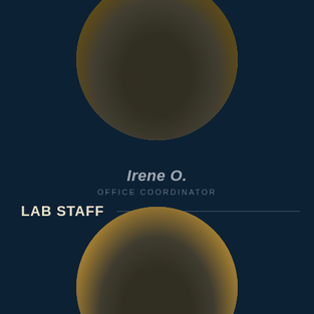[Figure (photo): Circular portrait photo of Irene O., a woman in dark clothing, cropped in a circle with gold/tan background.]
Irene O.
OFFICE COORDINATOR
LAB STAFF
[Figure (photo): Circular portrait photo of a person wearing glasses, cropped in a circle with gold/tan background, partially visible.]